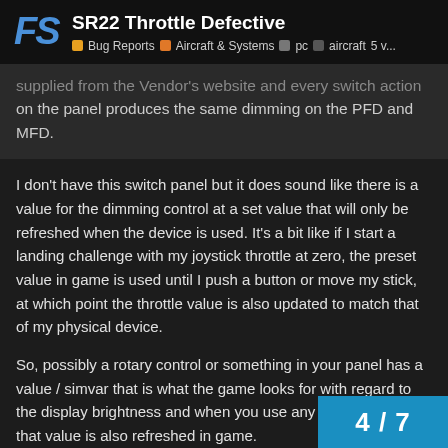SR22 Throttle Defective — Bug Reports | Aircraft & Systems | pc | aircraft | 5 v...
...supplied from the Vendor's website and every switch action on the panel produces the same dimming on the PFD and MFD.
I don't have this switch panel but it does sound like there is a value for the dimming control at a set value that will only be refreshed when the device is used. It's a bit like if I start a landing challenge with my joystick throttle at zero, the preset value in game is used until I push a button or move my stick, at which point the throttle value is also updated to match that of my physical device.
So, possibly a rotary control or something in your panel has a value / simvar that is what the game looks for with regard to the display brightness and when you use any other function, that value is also refreshed in game.
Edit: I also don't have the NXi installed so I cannot check if it is a wider issue with other devices, which co...
4 / 7